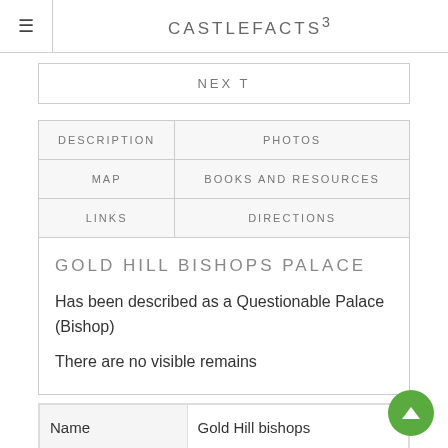CASTLEFACTS³
NEXT
| DESCRIPTION | PHOTOS |
| --- | --- |
| MAP | BOOKS AND RESOURCES |
| LINKS | DIRECTIONS |
GOLD HILL BISHOPS PALACE
Has been described as a Questionable Palace (Bishop)
There are no visible remains
| Name | Gold Hill bishops |